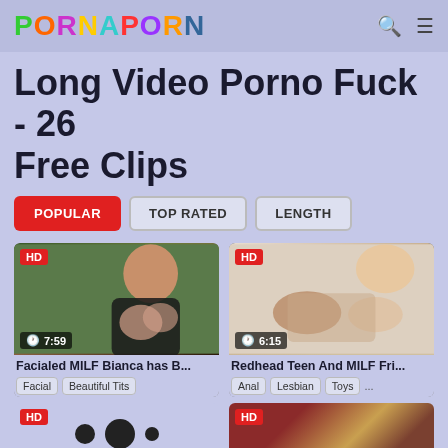PORNAPORN
Long Video Porno Fuck - 26 Free Clips
POPULAR | TOP RATED | LENGTH
[Figure (screenshot): HD video thumbnail showing woman, duration 7:59 — Facialed MILF Bianca has B... with tags Facial, Beautiful Tits]
[Figure (screenshot): HD video thumbnail showing two women, duration 6:15 — Redhead Teen And MILF Fri... with tags Anal, Lesbian, Toys ...]
[Figure (screenshot): HD video thumbnail bottom-left partial view]
[Figure (screenshot): HD video thumbnail bottom-right partial view]